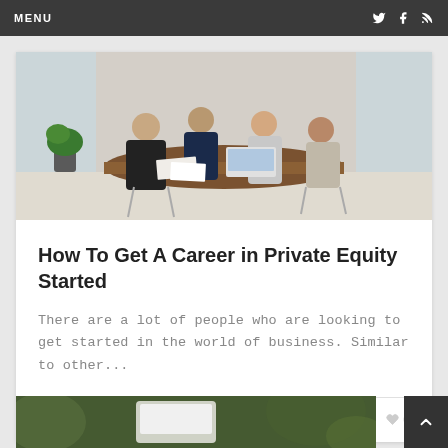MENU
[Figure (photo): People sitting around a wooden meeting table in a bright office, working on documents and laptops]
How To Get A Career in Private Equity Started
There are a lot of people who are looking to get started in the world of business. Similar to other...
Career  MAY 25, 2021  0
[Figure (photo): Blurred outdoor scene with a white laptop, green background]